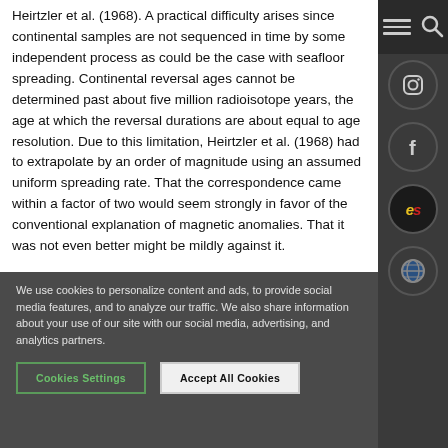Heirtzler et al. (1968). A practical difficulty arises since continental samples are not sequenced in time by some independent process as could be the case with seafloor spreading. Continental reversal ages cannot be determined past about five million radioisotope years, the age at which the reversal durations are about equal to age resolution. Due to this limitation, Heirtzler et al. (1968) had to extrapolate by an order of magnitude using an assumed uniform spreading rate. That the correspondence came within a factor of two would seem strongly in favor of the conventional explanation of magnetic anomalies. That it was not even better might be mildly against it.
We use cookies to personalize content and ads, to provide social media features, and to analyze our traffic. We also share information about your use of our site with our social media, advertising, and analytics partners.